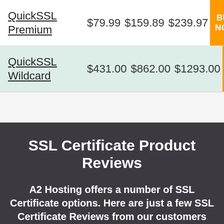| Product | 1yr | 2yr | 3yr | Action |
| --- | --- | --- | --- | --- |
| QuickSSL Premium | $79.99 | $159.89 | $239.97 | BUY NOW |
| QuickSSL Wildcard | $431.00 | $862.00 | $1293.00 | BUY NOW |
SSL Certificate Product Reviews
A2 Hosting offers a number of SSL Certificate options. Here are just a few SSL Certificate Reviews from our customers who have chosen one of our options.